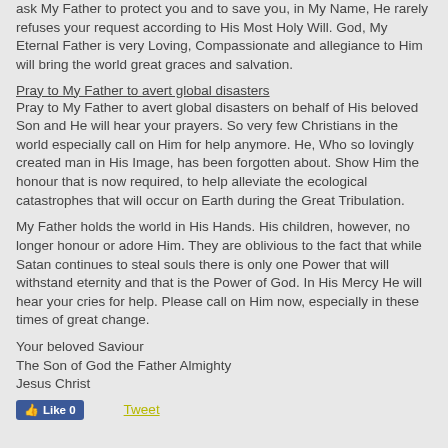ask My Father to protect you and to save you, in My Name, He rarely refuses your request according to His Most Holy Will. God, My Eternal Father is very Loving, Compassionate and allegiance to Him will bring the world great graces and salvation.
Pray to My Father to avert global disasters
Pray to My Father to avert global disasters on behalf of His beloved Son and He will hear your prayers. So very few Christians in the world especially call on Him for help anymore. He, Who so lovingly created man in His Image, has been forgotten about. Show Him the honour that is now required, to help alleviate the ecological catastrophes that will occur on Earth during the Great Tribulation.
My Father holds the world in His Hands. His children, however, no longer honour or adore Him. They are oblivious to the fact that while Satan continues to steal souls there is only one Power that will withstand eternity and that is the Power of God. In His Mercy He will hear your cries for help. Please call on Him now, especially in these times of great change.
Your beloved Saviour
The Son of God the Father Almighty
Jesus Christ
Like 0   Tweet